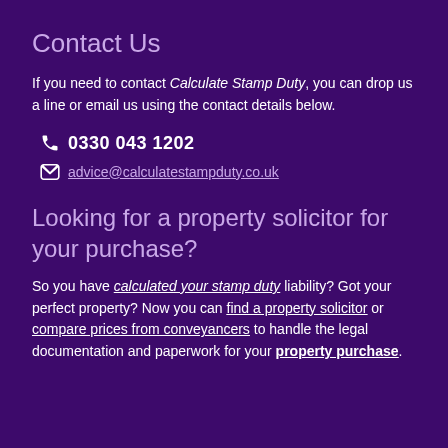Contact Us
If you need to contact Calculate Stamp Duty, you can drop us a line or email us using the contact details below.
0330 043 1202
advice@calculatestampduty.co.uk
Looking for a property solicitor for your purchase?
So you have calculated your stamp duty liability? Got your perfect property? Now you can find a property solicitor or compare prices from conveyancers to handle the legal documentation and paperwork for your property purchase.